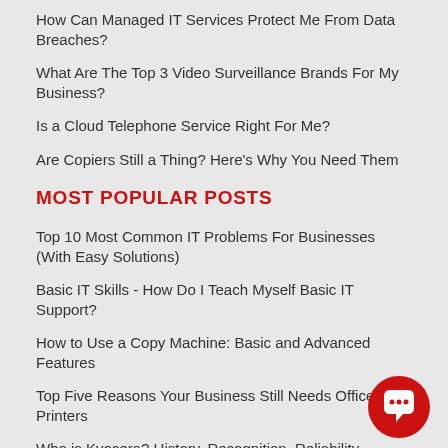How Can Managed IT Services Protect Me From Data Breaches?
What Are The Top 3 Video Surveillance Brands For My Business?
Is a Cloud Telephone Service Right For Me?
Are Copiers Still a Thing? Here’s Why You Need Them
MOST POPULAR POSTS
Top 10 Most Common IT Problems For Businesses (With Easy Solutions)
Basic IT Skills - How Do I Teach Myself Basic IT Support?
How to Use a Copy Machine: Basic and Advanced Features
Top Five Reasons Your Business Still Needs Office Printers
Who is Kyocera? History, Recognition, Reliability